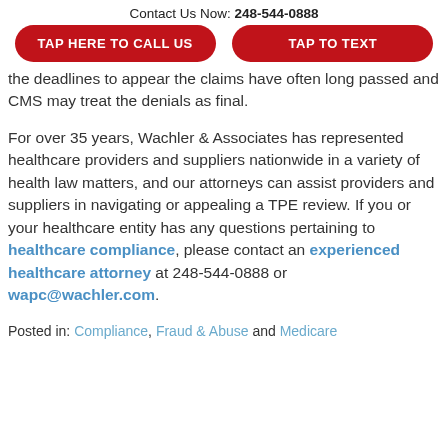Contact Us Now: 248-544-0888
TAP HERE TO CALL US  |  TAP TO TEXT
the deadlines to appeal the claims have often long passed and CMS may treat the denials as final.
For over 35 years, Wachler & Associates has represented healthcare providers and suppliers nationwide in a variety of health law matters, and our attorneys can assist providers and suppliers in navigating or appealing a TPE review. If you or your healthcare entity has any questions pertaining to healthcare compliance, please contact an experienced healthcare attorney at 248-544-0888 or wapc@wachler.com.
Posted in: Compliance, Fraud & Abuse and Medicare